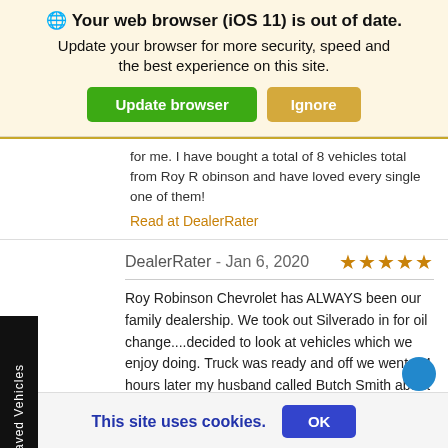🌐 Your web browser (iOS 11) is out of date. Update your browser for more security, speed and the best experience on this site.
Update browser | Ignore
for me. I have bought a total of 8 vehicles total from Roy Robinson and have loved every single one of them!
Read at DealerRater
DealerRater - Jan 6, 2020  ★★★★★
Roy Robinson Chevrolet has ALWAYS been our family dealership. We took out Silverado in for oil change....decided to look at vehicles which we enjoy doing. Truck was ready and off we went. 24 hours later my husband called Butch Smith about a Traverse he liked. We took test drive with Peter and decided this was meant to be! It's a beauty! Thank you Butch and Peter! The
This site uses cookies.  OK